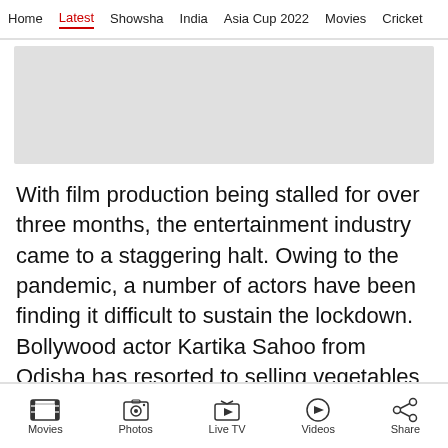Home  Latest  Showsha  India  Asia Cup 2022  Movies  Cricket
[Figure (other): Gray advertisement placeholder banner]
With film production being stalled for over three months, the entertainment industry came to a staggering halt. Owing to the pandemic, a number of actors have been finding it difficult to sustain the lockdown. Bollywood actor Kartika Sahoo from Odisha has resorted to selling vegetables to make ends meet.
Movies  Photos  Live TV  Videos  Share